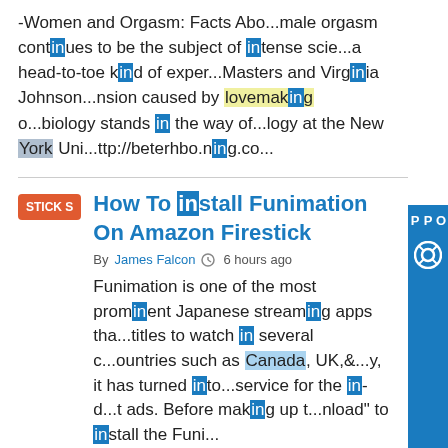-Women and Orgasm: Facts Abo...male orgasm continues to be the subject of intense scie...a head-to-toe kind of exper...Masters and Virginia Johnson...nsion caused by lovemaking o...biology stands in the way of...logy at the New York Uni...ttp://beterhbo.ning.co...
How To Install Funimation On Amazon Firestick
By James Falcon  6 hours ago
Funimation is one of the most prominent Japanese streaming apps tha...titles to watch in several c...ountries such as Canada, UK,&...y, it has turned into...service for the in-d...t ads. Before making up t...unload" to install the Funi...